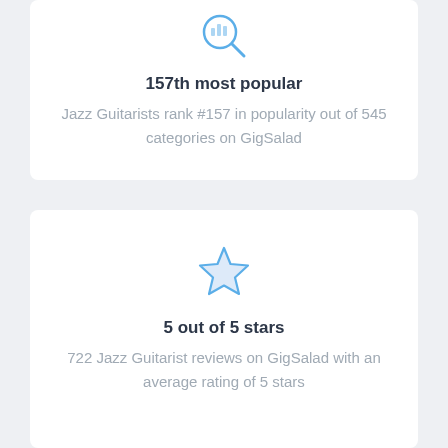[Figure (illustration): Blue magnifying glass with bar chart icon]
157th most popular
Jazz Guitarists rank #157 in popularity out of 545 categories on GigSalad
[Figure (illustration): Blue outline star icon]
5 out of 5 stars
722 Jazz Guitarist reviews on GigSalad with an average rating of 5 stars